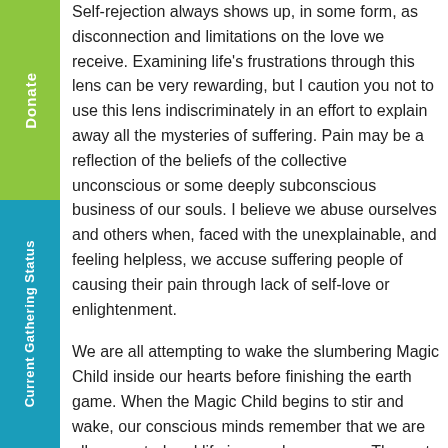Self-rejection always shows up, in some form, as disconnection and limitations on the love we receive. Examining life's frustrations through this lens can be very rewarding, but I caution you not to use this lens indiscriminately in an effort to explain away all the mysteries of suffering. Pain may be a reflection of the beliefs of the collective unconscious or some deeply subconscious business of our souls. I believe we abuse ourselves and others when, faced with the unexplainable, and feeling helpless, we accuse suffering people of causing their pain through lack of self-love or enlightenment.

We are all attempting to wake the slumbering Magic Child inside our hearts before finishing the earth game. When the Magic Child begins to stir and wake, our conscious minds remember that we are all connected and life is seamless energy. The rest of life becomes an examination of the ways we trap ourselves in the veil of illusion, and an exploration of